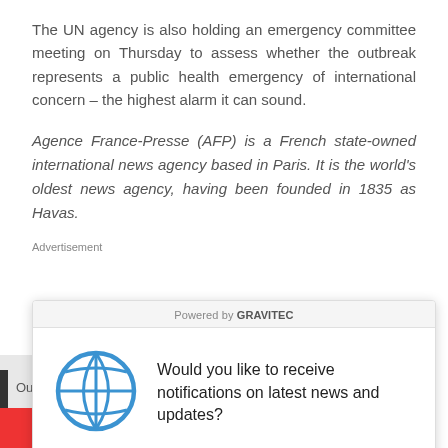The UN agency is also holding an emergency committee meeting on Thursday to assess whether the outbreak represents a public health emergency of international concern – the highest alarm it can sound.
Agence France-Presse (AFP) is a French state-owned international news agency based in Paris. It is the world's oldest news agency, having been founded in 1835 as Havas.
Advertisement
[Figure (screenshot): Browser notification permission popup from GRAVITEC service. Shows a globe icon, the text 'Would you like to receive notifications on latest news and updates?', with a CANCEL button and a dark blue YES button.]